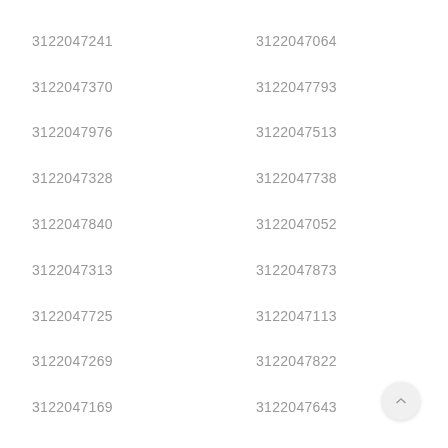3122047241
3122047064
3122047370
3122047793
3122047976
3122047513
3122047328
3122047738
3122047840
3122047052
3122047313
3122047873
3122047725
3122047113
3122047269
3122047822
3122047169
3122047643